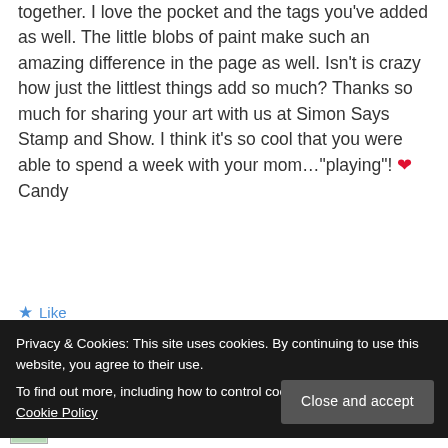together. I love the pocket and the tags you've added as well. The little blobs of paint make such an amazing difference in the page as well. Isn't is crazy how just the littlest things add so much? Thanks so much for sharing your art with us at Simon Says Stamp and Show. I think it's so cool that you were able to spend a week with your mom..."playing"! ❤ Candy
★ Like
Privacy & Cookies: This site uses cookies. By continuing to use this website, you agree to their use. To find out more, including how to control cookies, see here: Our Cookie Policy
Close and accept
May 11, 2013 at 1:26 pm